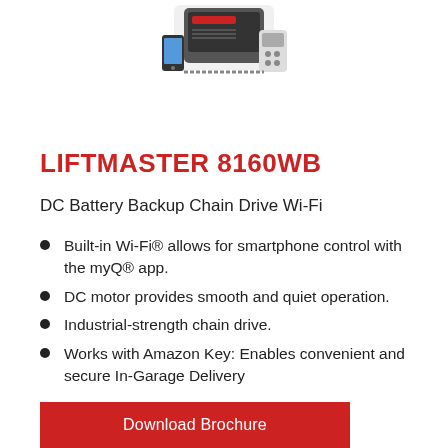[Figure (photo): Product image of LiftMaster 8160WB garage door opener with smartphone and remote controls visible at the top of the page]
LIFTMASTER 8160WB
DC Battery Backup Chain Drive Wi-Fi
Built-in Wi-Fi® allows for smartphone control with the myQ® app.
DC motor provides smooth and quiet operation.
Industrial-strength chain drive.
Works with Amazon Key: Enables convenient and secure In-Garage Delivery
Download Brochure